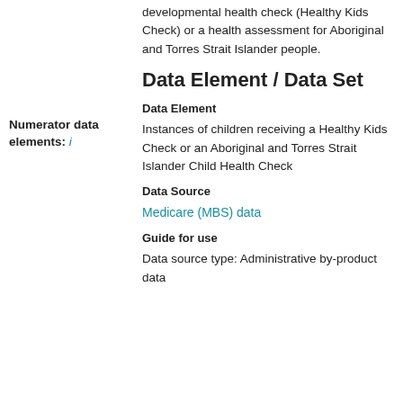developmental health check (Healthy Kids Check) or a health assessment for Aboriginal and Torres Strait Islander people.
Numerator data elements: i
Data Element / Data Set
Data Element
Instances of children receiving a Healthy Kids Check or an Aboriginal and Torres Strait Islander Child Health Check
Data Source
Medicare (MBS) data
Guide for use
Data source type: Administrative by-product data